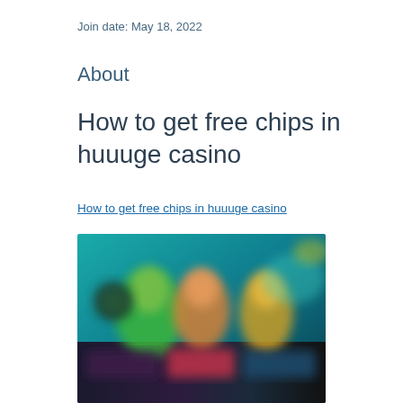Join date: May 18, 2022
About
How to get free chips in huuuge casino
How to get free chips in huuuge casino
[Figure (screenshot): Blurred screenshot of a casino game app showing colorful characters and game interface with teal/dark background]